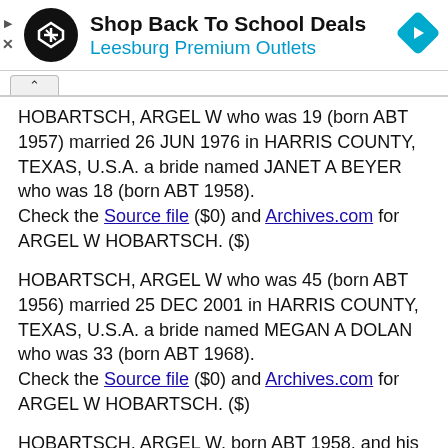[Figure (other): Advertisement banner: Shop Back To School Deals - Leesburg Premium Outlets, with circular logo icon and navigation arrow icon]
HOBARTSCH, ARGEL W who was 19 (born ABT 1957) married 26 JUN 1976 in HARRIS COUNTY, TEXAS, U.S.A. a bride named JANET A BEYER who was 18 (born ABT 1958).
Check the Source file ($0) and Archives.com for ARGEL W HOBARTSCH. ($)
HOBARTSCH, ARGEL W who was 45 (born ABT 1956) married 25 DEC 2001 in HARRIS COUNTY, TEXAS, U.S.A. a bride named MEGAN A DOLAN who was 33 (born ABT 1968).
Check the Source file ($0) and Archives.com for ARGEL W HOBARTSCH. ($)
HOBARTSCH, ARGEL W, born ABT 1958, and his bride JANET A, born ABT 1958, married 26 JUN 1976